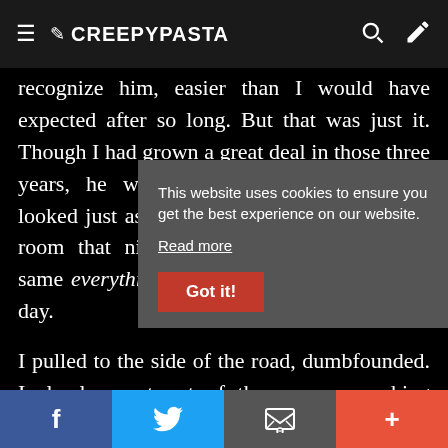≡ ✏ CREEPYPASTA 🔍 ✏
recognize him, easier than I would have expected after so long. But that was just it. Though I had grown a great deal in those three years, he was completely unchanged. He looked just as he had when he snuck into my room that night; same clothes, same face, same everything. It was like he hadn't aged a day.
I pulled to the side of the road, dumbfounded. I slowly crept out of the car, approaching cautiously.
“Hey, Mhee. How
“Andrew? Is… th
“What’s with the
This website uses cookies to ensure you get the best experience on our website. Read more
f  🐦  ✉  +